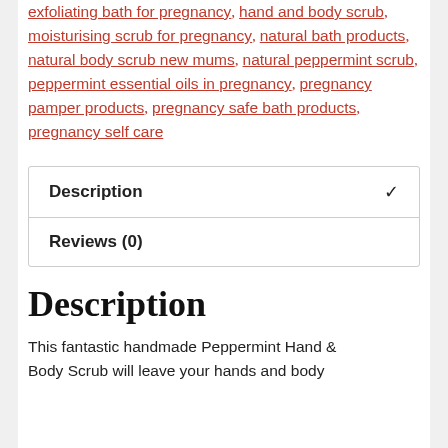exfoliating bath for pregnancy, hand and body scrub, moisturising scrub for pregnancy, natural bath products, natural body scrub new mums, natural peppermint scrub, peppermint essential oils in pregnancy, pregnancy pamper products, pregnancy safe bath products, pregnancy self care
| Description | ✓ |
| Reviews (0) |  |
Description
This fantastic handmade Peppermint Hand & Body Scrub will leave your hands and body